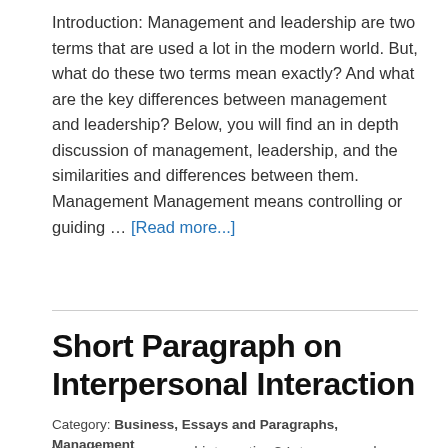Introduction: Management and leadership are two terms that are used a lot in the modern world. But, what do these two terms mean exactly? And what are the key differences between management and leadership? Below, you will find an in depth discussion of management, leadership, and the similarities and differences between them. Management Management means controlling or guiding … [Read more...]
Short Paragraph on Interpersonal Interaction
Category: Business, Essays and Paragraphs, Management
On November 2, 2016 By Various Contributors
What is interpersonal interaction? Interpersonal